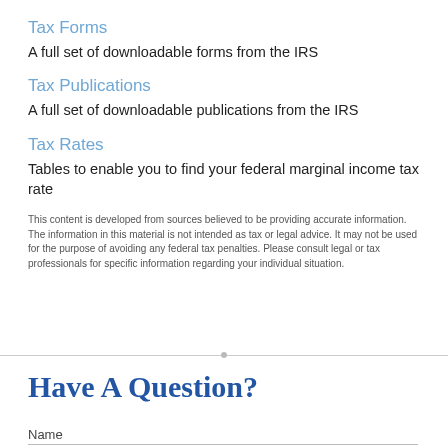Tax Forms
A full set of downloadable forms from the IRS
Tax Publications
A full set of downloadable publications from the IRS
Tax Rates
Tables to enable you to find your federal marginal income tax rate
This content is developed from sources believed to be providing accurate information. The information in this material is not intended as tax or legal advice. It may not be used for the purpose of avoiding any federal tax penalties. Please consult legal or tax professionals for specific information regarding your individual situation.
Have A Question?
Name